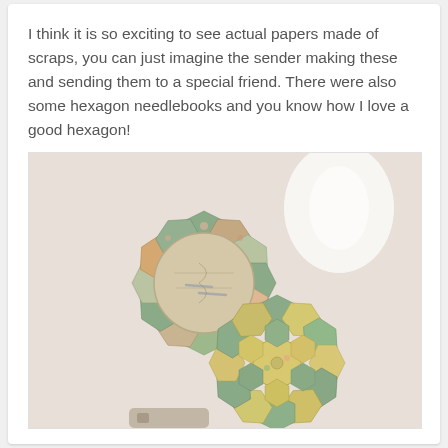I think it is so exciting to see actual papers made of scraps, you can just imagine the sender making these and sending them to a special friend. There were also some hexagon needlebooks and you know how I love a good hexagon!
[Figure (photo): Two hexagon patchwork needlebooks made from floral and patterned fabric scraps, arranged on a light background. The needlebooks are flower-shaped with hexagonal fabric pieces in sage green, yellow, and floral prints. Needles are visible stuck into the felted interior of the top needlebook.]